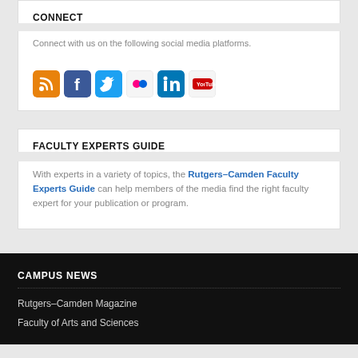CONNECT
Connect with us on the following social media platforms.
[Figure (illustration): Social media icons: RSS (orange), Facebook (blue), Twitter (light blue), Flickr (pink dots on light background), LinkedIn (blue), YouTube (red/white on light background)]
FACULTY EXPERTS GUIDE
With experts in a variety of topics, the Rutgers–Camden Faculty Experts Guide can help members of the media find the right faculty expert for your publication or program.
CAMPUS NEWS
Rutgers–Camden Magazine
Faculty of Arts and Sciences